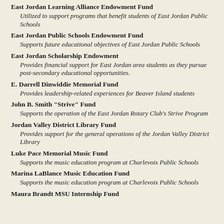East Jordan Learning Alliance Endowment Fund
Utilized to support programs that benefit students of East Jordan Public Schools
East Jordan Public Schools Endowment Fund
Supports future educational objectives of East Jordan Public Schools
East Jordan Scholarship Endowment
Provides financial support for East Jordan area students as they pursue post-secondary educational opportunities.
E. Darrell Dinwiddie Memorial Fund
Provides leadership-related experiences for Beaver Island students
John B. Smith "Strive" Fund
Supports the operation of the East Jordan Rotary Club's Strive Program
Jordan Valley District Library Fund
Provides support for the general operations of the Jordan Valley District Library
Luke Pace Memorial Music Fund
Supports the music education program at Charlevoix Public Schools
Marina LaBlance Music Education Fund
Supports the music education program at Charlevoix Public Schools
Maura Brandt MSU Internship Fund